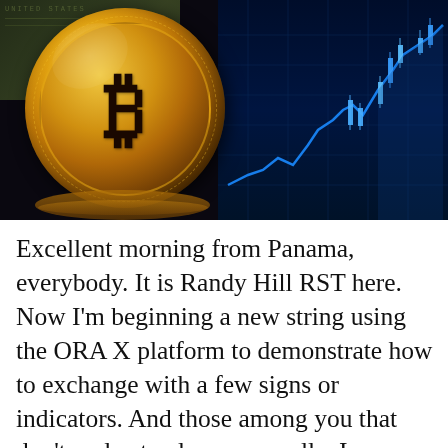[Figure (photo): A gold Bitcoin coin with the ₿ symbol in the foreground, stacked coins beneath it, placed in front of a blue candlestick stock chart on a dark background, with US dollar bills visible in the upper left.]
Excellent morning from Panama, everybody. It is Randy Hill RST here. Now I'm beginning a new string using the ORA X platform to demonstrate how to exchange with a few signs or indicators. And those among you that don't understand mepersonally, I am a